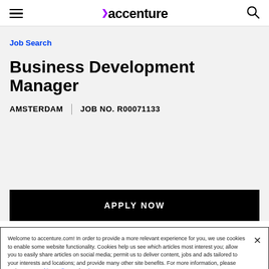accenture
Job Search
Business Development Manager
AMSTERDAM | JOB NO. R00071133
APPLY NOW
Welcome to accenture.com! In order to provide a more relevant experience for you, we use cookies to enable some website functionality. Cookies help us see which articles most interest you; allow you to easily share articles on social media; permit us to deliver content, jobs and ads tailored to your interests and locations; and provide many other site benefits. For more information, please review our Cookies Policy and Privacy Statement.
Cookies Settings